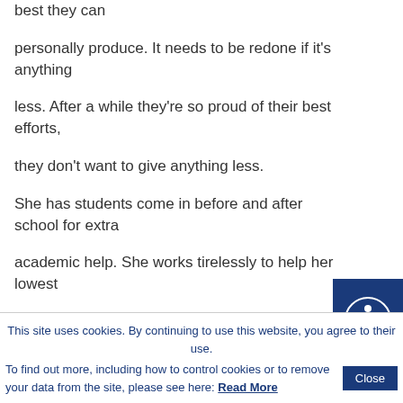best they can
personally produce. It needs to be redone if it's anything
less. After a while they're so proud of their best efforts,
they don't want to give anything less.
She has students come in before and after school for extra
academic help. She works tirelessly to help her lowest
[Figure (other): Accessibility icon button — circular figure with arms and legs outstretched, dark navy background]
This site uses cookies. By continuing to use this website, you agree to their use.
To find out more, including how to control cookies or to remove your data from the site, please see here: Read More